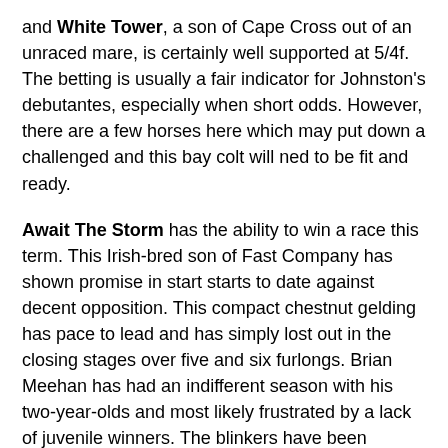and White Tower, a son of Cape Cross out of an unraced mare, is certainly well supported at 5/4f. The betting is usually a fair indicator for Johnston's debutantes, especially when short odds. However, there are a few horses here which may put down a challenged and this bay colt will ned to be fit and ready.
Await The Storm has the ability to win a race this term. This Irish-bred son of Fast Company has shown promise in start starts to date against decent opposition. This compact chestnut gelding has pace to lead and has simply lost out in the closing stages over five and six furlongs. Brian Meehan has had an indifferent season with his two-year-olds and most likely frustrated by a lack of juvenile winners. The blinkers have been applied today no doubt in an attempted to find a little more improvement. I wonder if this horse would be better over the minimum trip although I doubt there is much in it to be fair. If he can gain an easy lead could hold each-way claims but one or two may be too good.
Zamjar is a fair horse for Ed Dunlop who have been in imperious form this season. This chestnut son of Exceed